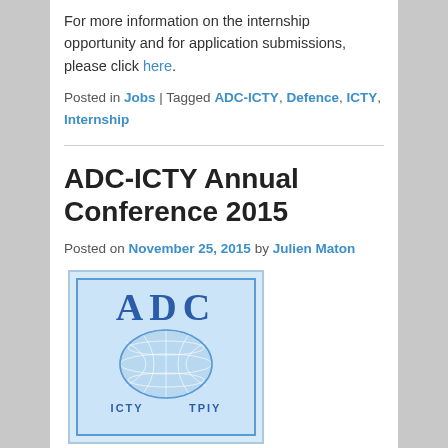For more information on the internship opportunity and for application submissions, please click here.
Posted in Jobs | Tagged ADC-ICTY, Defence, ICTY, Internship
ADC-ICTY Annual Conference 2015
Posted on November 25, 2015 by Julien Maton
[Figure (logo): ADC-ICTY logo with large bold letters 'ADC' at top, a white globe/world map graphic in the center on a light blue background, and 'ICTY TPIY' text at the bottom]